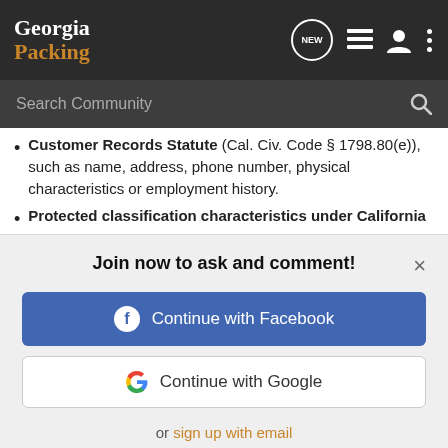Georgia Packing — navigation bar with logo, NEW bubble, list icon, user icon, menu icon
Search Community
Customer Records Statute (Cal. Civ. Code § 1798.80(e)), such as name, address, phone number, physical characteristics or employment history.
Protected classification characteristics under California
[Figure (screenshot): Modal overlay: Join now to ask and comment! with Continue with Facebook button, Continue with Google button, and or sign up with email link]
advertisement.
Geolocation data.
Professional or employment-related information